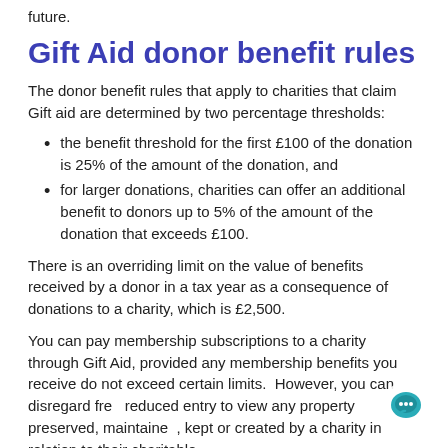future.
Gift Aid donor benefit rules
The donor benefit rules that apply to charities that claim Gift aid are determined by two percentage thresholds:
the benefit threshold for the first £100 of the donation is 25% of the amount of the donation, and
for larger donations, charities can offer an additional benefit to donors up to 5% of the amount of the donation that exceeds £100.
There is an overriding limit on the value of benefits received by a donor in a tax year as a consequence of donations to a charity, which is £2,500.
You can pay membership subscriptions to a charity through Gift Aid, provided any membership benefits you receive do not exceed certain limits.  However, you can disregard free reduced entry to view any property preserved, maintained, kept or created by a charity in relation to their charitable